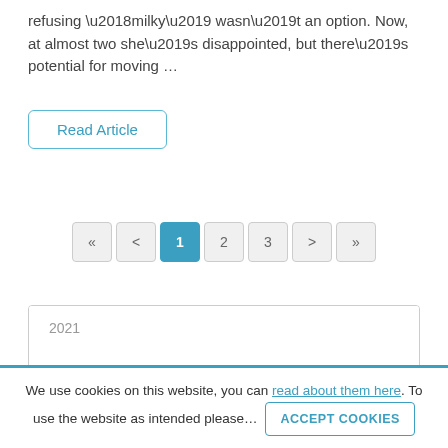refusing ‘milky’ wasn’t an option. Now, at almost two she’s disappointed, but there’s potential for moving …
Read Article
« < 1 2 3 > »
| 2021 |
| 2020 |
| 2022 |
We use cookies on this website, you can read about them here. To use the website as intended please… ACCEPT COOKIES